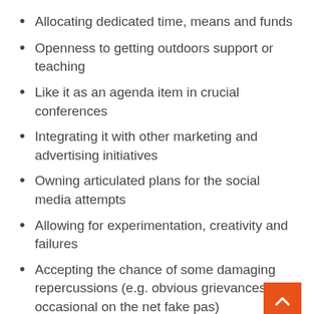Allocating dedicated time, means and funds
Openness to getting outdoors support or teaching
Like it as an agenda item in crucial conferences
Integrating it with other marketing and advertising initiatives
Owning articulated plans for the social media attempts
Allowing for experimentation, creativity and failures
Accepting the chance of some damaging repercussions (e.g. obvious grievances, the occasional on the net fake pas)
Monitoring things to do and outcomes
Guarantee that every person is on the exact same web